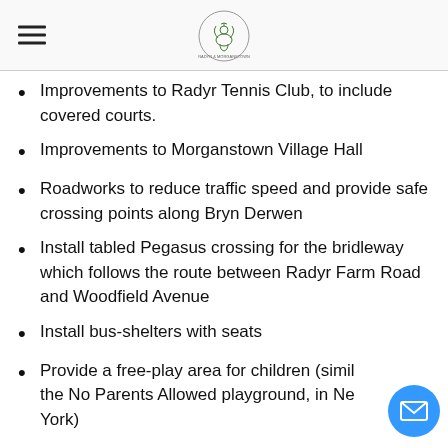[Hamburger menu icon] [Logo: bird/peacock in circle]
Improvements to Radyr Tennis Club, to include covered courts.
Improvements to Morganstown Village Hall
Roadworks to reduce traffic speed and provide safe crossing points along Bryn Derwen
Install tabled Pegasus crossing for the bridleway which follows the route between Radyr Farm Road and Woodfield Avenue
Install bus-shelters with seats
Provide a free-play area for children (simil the No Parents Allowed playground, in Ne York)